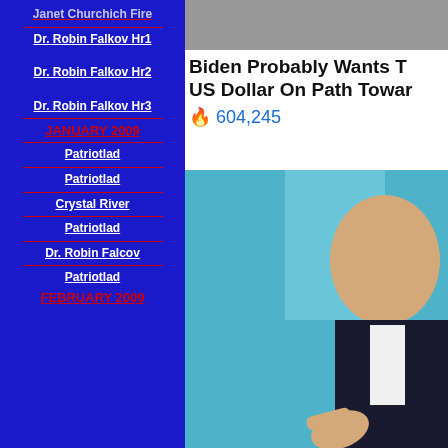Janet Churchich Fire
Dr. Robin Falkov Hr1
Dr. Robin Falkov Hr2
Dr. Robin Falkov Hr3
JANUARY 2009
Patriotlad
Patriotlad
Crystal River
Patriotlad
Dr. Robin Falcov
Patriotlad
FEBRUARY 2009
[Figure (photo): Photo of a person at top right]
Biden Probably Wants T... US Dollar On Path Towar...
604,245
[Figure (photo): Photo of Biden pointing finger against teal/blue background]